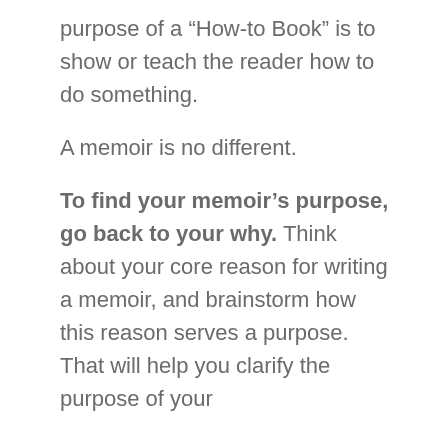purpose of a “How-to Book” is to show or teach the reader how to do something.
A memoir is no different.
To find your memoir’s purpose, go back to your why. Think about your core reason for writing a memoir, and brainstorm how this reason serves a purpose. That will help you clarify the purpose of your